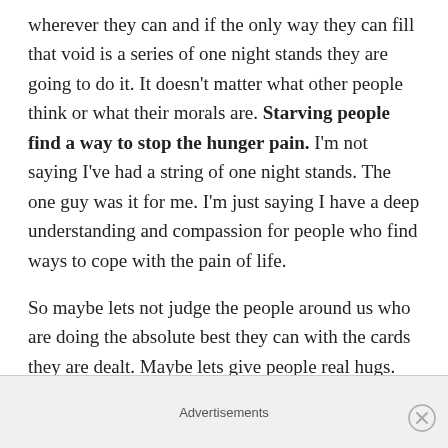wherever they can and if the only way they can fill that void is a series of one night stands they are going to do it. It doesn't matter what other people think or what their morals are. Starving people find a way to stop the hunger pain. I'm not saying I've had a string of one night stands. The one guy was it for me. I'm just saying I have a deep understanding and compassion for people who find ways to cope with the pain of life.
So maybe lets not judge the people around us who are doing the absolute best they can with the cards they are dealt. Maybe lets give people real hugs. Real hugs to single people and widows. Even the ones who have
Advertisements